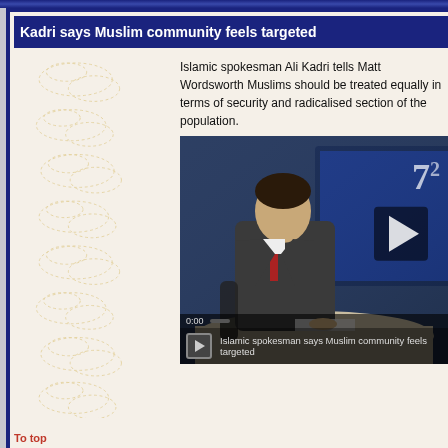Kadri says Muslim community feels targeted
Islamic spokesman Ali Kadri tells Matt Wordsworth Muslims should be treated equally in terms of security and radicalised section of the population.
[Figure (screenshot): Video thumbnail showing a news anchor in a suit and red tie seated at a broadcast desk, with a TV studio background. Overlay shows a play button and the number 7. Bottom bar shows: play button, 'Islamic spokesman says Muslim community feels targeted', timecode 0:00.]
To top